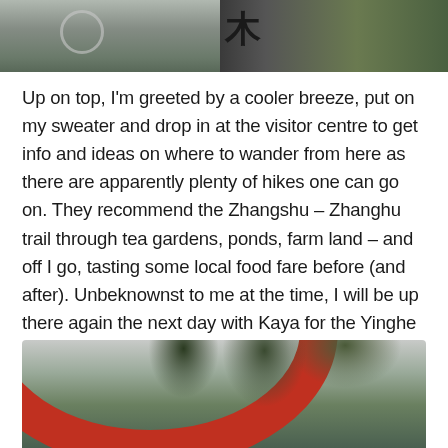[Figure (photo): Two photos at top: left shows a road/street with a circular road marking, right shows a building entrance with Chinese characters and greenery]
Up on top, I'm greeted by a cooler breeze, put on my sweater and drop in at the visitor centre to get info and ideas on where to wander from here as there are apparently plenty of hikes one can go on. They recommend the Zhangshu – Zhanghu trail through tea gardens, ponds, farm land – and off I go, tasting some local food fare before (and after). Unbeknownst to me at the time, I will be up there again the next day with Kaya for the Yinghe Cave hike.
[Figure (photo): Photo of a large red curved arch/gate structure with trees and overcast sky visible through the arch]